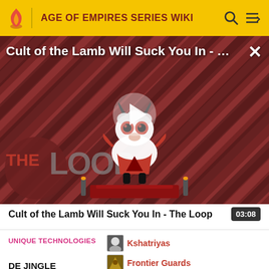AGE OF EMPIRES SERIES WIKI
[Figure (screenshot): Video thumbnail for 'Cult of the Lamb Will Suck You In - The Loop' showing a cartoon lamb character with red eyes on a striped red and dark background with 'THE LOOP' text logo and a play button overlay]
Cult of the Lamb Will Suck You In - The Loop  03:08
| UNIQUE TECHNOLOGIES | Links |
| --- | --- |
|  | Kshatriyas |
|  | Frontier Guards |
DE JINGLE